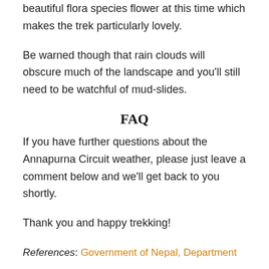beautiful flora species flower at this time which makes the trek particularly lovely.
Be warned though that rain clouds will obscure much of the landscape and you'll still need to be watchful of mud-slides.
FAQ
If you have further questions about the Annapurna Circuit weather, please just leave a comment below and we'll get back to you shortly.
Thank you and happy trekking!
References: Government of Nepal, Department